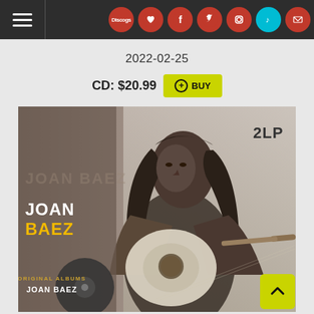Navigation bar with hamburger menu and social icons: Discogs, Love Music, Facebook, Twitter, Instagram, TikTok, Email
2022-02-25
CD: $20.99  + BUY
[Figure (photo): Black and white album cover photo of Joan Baez sitting with an acoustic guitar, long dark hair, serious expression. Text on image reads JOAN BAEZ and 2LP in top right. Bottom shows album artwork with text ORIGINAL ALBUMS JOAN BAEZ]